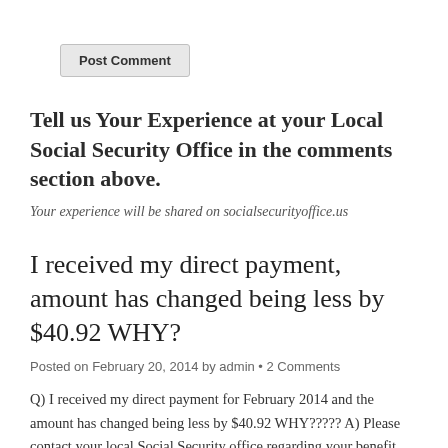[Figure (other): Post Comment button — a grey rounded rectangle button with bold text 'Post Comment']
Tell us Your Experience at your Local Social Security Office in the comments section above.
Your experience will be shared on socialsecurityoffice.us
I received my direct payment, amount has changed being less by $40.92 WHY?
Posted on February 20, 2014 by admin • 2 Comments
Q) I received my direct payment for February 2014 and the amount has changed being less by $40.92 WHY????? A) Please contact your local Social Security office regarding your benefit reduction. You can call us